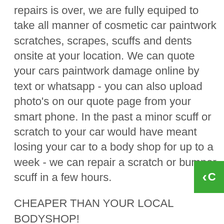repairs is over, we are fully equiped to take all manner of cosmetic car paintwork scratches, scrapes, scuffs and dents onsite at your location. We can quote your cars paintwork damage online by text or whatsapp - you can also upload photo's on our quote page from your smart phone. In the past a minor scuff or scratch to your car would have meant losing your car to a body shop for up to a week - we can repair a scratch or bumper scuff in a few hours.
CHEAPER THAN YOUR LOCAL BODYSHOP!
We are cheaper than a bodyshop for all our car scratch, scuff, dent and alloy repairs because we don't have a expensive workshop to run and pay for. And we pass these savings on to YOU!
We carry out the repair at a place and time that is convenient for you. We just need safe parking for our